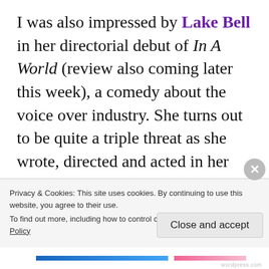I was also impressed by Lake Bell in her directorial debut of In A World (review also coming later this week), a comedy about the voice over industry. She turns out to be quite a triple threat as she wrote, directed and acted in her film (which was well-received at Sundance). Roadside Attraction has since acquired the film (per Deadline) so I'm hoping more of you would be able to see it. I sure hope she continues to act and direct, as we
Privacy & Cookies: This site uses cookies. By continuing to use this website, you agree to their use.
To find out more, including how to control cookies, see here: Cookie Policy
Close and accept